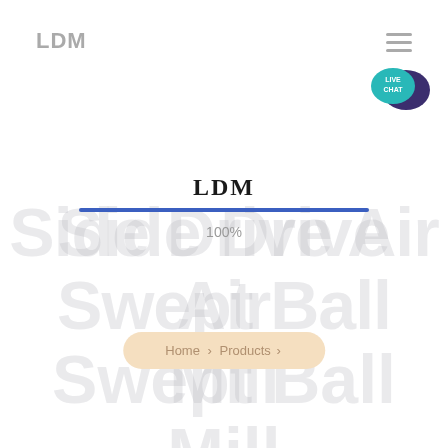LDM
[Figure (illustration): Live Chat speech bubble widget icon in teal and dark purple colors with text LIVE CHAT]
LDM
[Figure (infographic): A horizontal progress bar filled to 100% in blue color with 100% label below it]
Side Drive Air Swept Ball Mill
Home > Products >